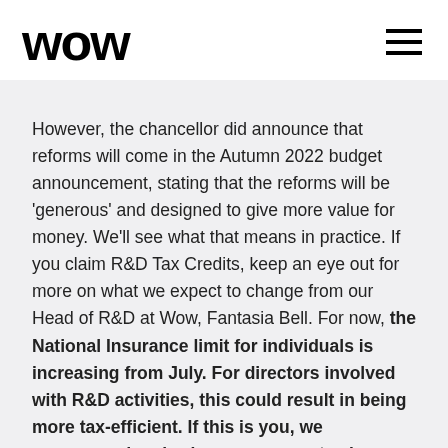WOW
However, the chancellor did announce that reforms will come in the Autumn 2022 budget announcement, stating that the reforms will be 'generous' and designed to give more value for money. We'll see what that means in practice. If you claim R&D Tax Credits, keep an eye out for more on what we expect to change from our Head of R&D at Wow, Fantasia Bell. For now, the National Insurance limit for individuals is increasing from July. For directors involved with R&D activities, this could result in being more tax-efficient. If this is you, we recommend reviewing your current salary structure. We can help those affected to provide some calculations on this.